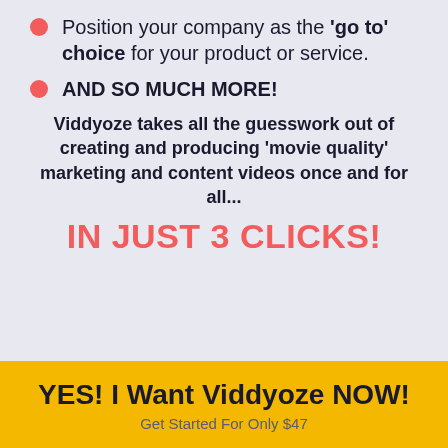Position your company as the 'go to' choice for your product or service.
AND SO MUCH MORE!
Viddyoze takes all the guesswork out of creating and producing 'movie quality' marketing and content videos once and for all...
IN JUST 3 CLICKS!
YES! I Want Viddyoze NOW! Get Started For Only $47